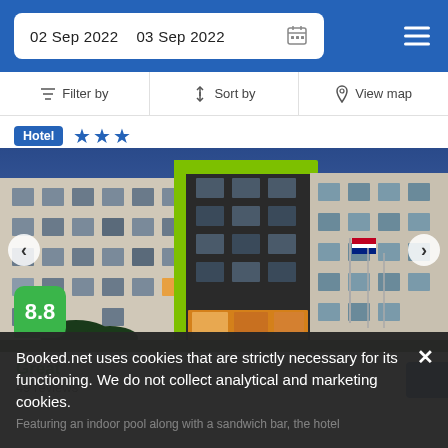02 Sep 2022   03 Sep 2022
Filter by   Sort by   View map
Hotel ★★★
[Figure (photo): Hotel building exterior at dusk with green accent lighting, multiple flags, and illuminated lobby. Score badge showing 8.8 in green.]
Great
49 reviews
Booked.net uses cookies that are strictly necessary for its functioning. We do not collect analytical and marketing cookies.